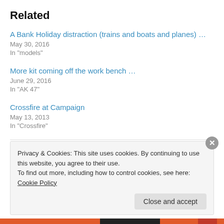Related
A Bank Holiday distraction (trains and boats and planes) …
May 30, 2016
In "models"
More kit coming off the work bench …
June 29, 2016
In "AK 47"
Crossfire at Campaign
May 13, 2013
In "Crossfire"
Privacy & Cookies: This site uses cookies. By continuing to use this website, you agree to their use.
To find out more, including how to control cookies, see here: Cookie Policy